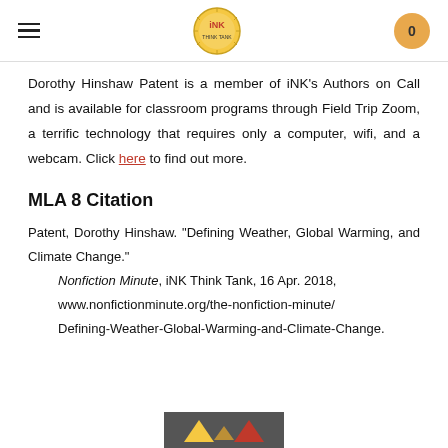iNK header with hamburger menu, logo, and cart button (0)
Dorothy Hinshaw Patent is a member of iNK's Authors on Call and is available for classroom programs through Field Trip Zoom, a terrific technology that requires only a computer, wifi, and a webcam. Click here to find out more.
MLA 8 Citation
Patent, Dorothy Hinshaw. "Defining Weather, Global Warming, and Climate Change." Nonfiction Minute, iNK Think Tank, 16 Apr. 2018, www.nonfictionminute.org/the-nonfiction-minute/Defining-Weather-Global-Warming-and-Climate-Change.
[Figure (other): Partial bottom image with dark gray background and colored triangle shapes]